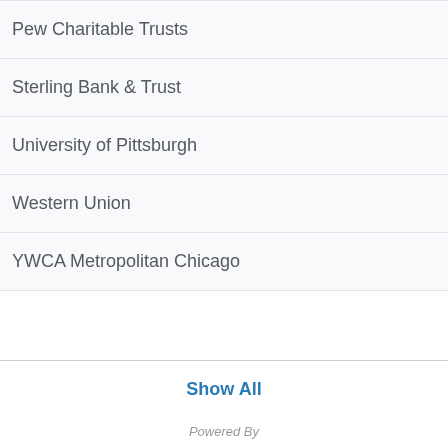Pew Charitable Trusts
Sterling Bank & Trust
University of Pittsburgh
Western Union
YWCA Metropolitan Chicago
Show All
Powered By